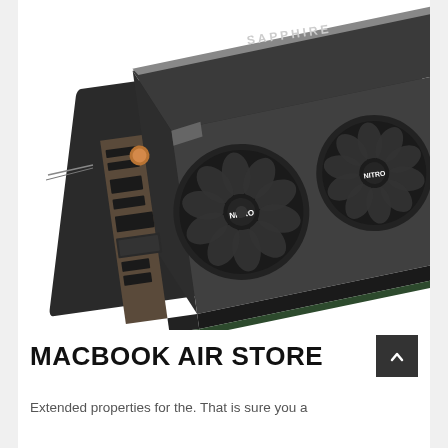[Figure (photo): Sapphire Nitro graphics card (GPU) with three fans labeled NITRO, angled perspective view showing the cooler shroud and I/O bracket with multiple display connectors (DisplayPort, HDMI, DVI), copper heat pipes visible, dark grey/black color scheme.]
MACBOOK AIR STORE
Extended properties for the. That is sure you a